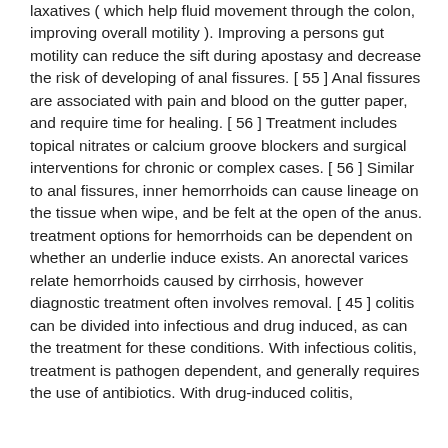laxatives ( which help fluid movement through the colon, improving overall motility ). Improving a persons gut motility can reduce the sift during apostasy and decrease the risk of developing of anal fissures. [ 55 ] Anal fissures are associated with pain and blood on the gutter paper, and require time for healing. [ 56 ] Treatment includes topical nitrates or calcium groove blockers and surgical interventions for chronic or complex cases. [ 56 ] Similar to anal fissures, inner hemorrhoids can cause lineage on the tissue when wipe, and be felt at the open of the anus. treatment options for hemorrhoids can be dependent on whether an underlie induce exists. An anorectal varices relate hemorrhoids caused by cirrhosis, however diagnostic treatment often involves removal. [ 45 ] colitis can be divided into infectious and drug induced, as can the treatment for these conditions. With infectious colitis, treatment is pathogen dependent, and generally requires the use of antibiotics. With drug-induced colitis,